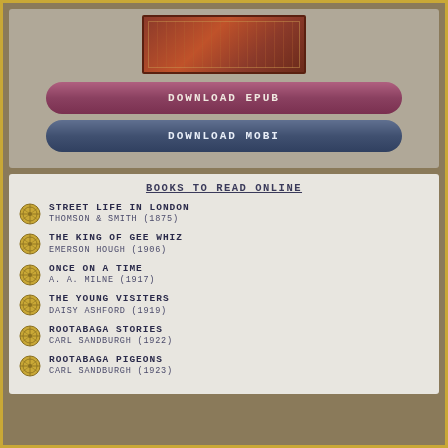[Figure (illustration): Decorative book cover image with ornate red/brown pattern]
DOWNLOAD EPUB
DOWNLOAD MOBI
BOOKS TO READ ONLINE
STREET LIFE IN LONDON
THOMSON & SMITH (1875)
THE KING OF GEE WHIZ
EMERSON HOUGH (1906)
ONCE ON A TIME
A. A. MILNE (1917)
THE YOUNG VISITERS
DAISY ASHFORD (1919)
ROOTABAGA STORIES
CARL SANDBURGH (1922)
ROOTABAGA PIGEONS
CARL SANDBURGH (1923)